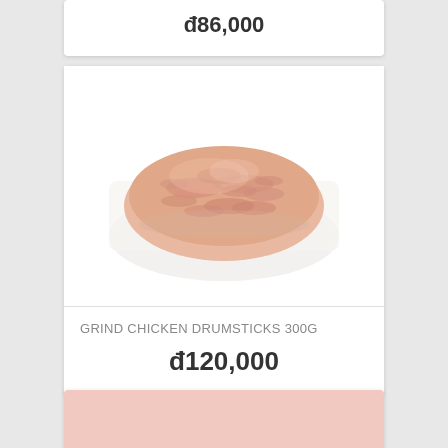đ86,000
[Figure (photo): Packaged ground chicken drumsticks on a white tray, approximately 300g, viewed from above]
GRIND CHICKEN DRUMSTICKS 300G
đ120,000
[Figure (photo): Partial view of another product card with a pinkish background, cut off at bottom of page]